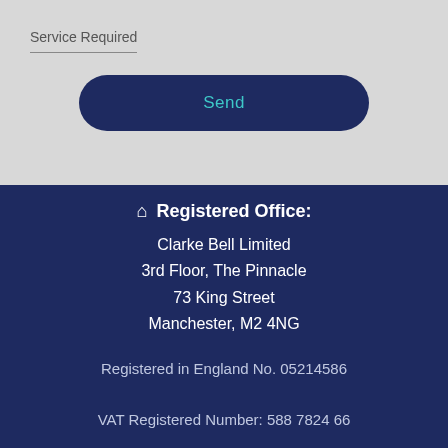Service Required
Send
⌂ Registered Office:
Clarke Bell Limited
3rd Floor, The Pinnacle
73 King Street
Manchester, M2 4NG

Registered in England No. 05214586

VAT Registered Number: 588 7824 66